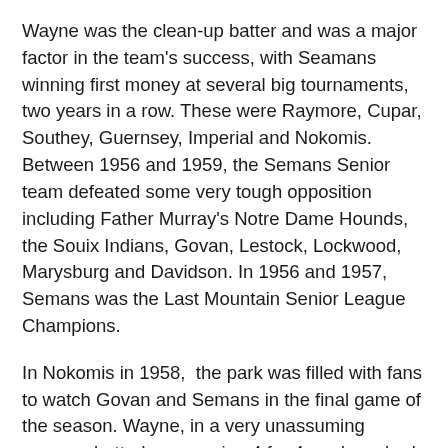Wayne was the clean-up batter and was a major factor in the team's success, with Seamans winning first money at several big tournaments, two years in a row. These were Raymore, Cupar, Southey, Guernsey, Imperial and Nokomis. Between 1956 and 1959, the Semans Senior team defeated some very tough opposition including Father Murray's Notre Dame Hounds, the Souix Indians, Govan, Lestock, Lockwood, Marysburg and Davidson. In 1956 and 1957, Semans was the Last Mountain Senior League Champions.
In Nokomis in 1958,  the park was filled with fans to watch Govan and Semans in the final game of the season. Wayne, in a very unassuming manner, batted an amazing 4 for 4, and crushed one for a triple in the top of the 9th, driving in a run to put Semans up 4-3. Govan then loaded the bases with 2 out in the bottom of the 9th, and sure hitting Lorn Mortenson nailed one to left field, where Wayne made an over the shoulder spectacular game winning catch!